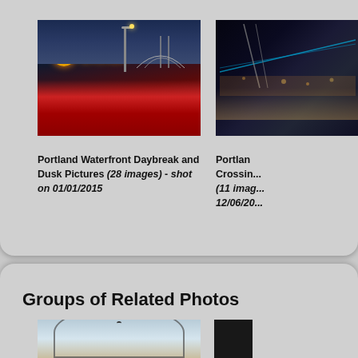[Figure (photo): Portland waterfront at dusk/dawn showing OMSI building with illuminated sign and red walkway leading to bridge]
Portland Waterfront Daybreak and Dusk Pictures (28 images) - shot on 01/01/2015
[Figure (photo): Portland bridge crossing at night with city lights (partially cropped on right edge)]
Portland Crossing (11 images) - shot on 12/06/20...
Groups of Related Photos
[Figure (photo): Partially visible photo showing a circular arc structure against sky (bottom of page, cropped)]
[Figure (photo): Partially visible dark photo (bottom right, cropped)]